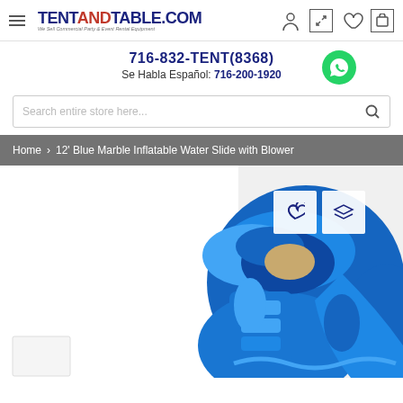TENTANDTABLE.COM — We Sell Commercial Party & Event Rental Equipment
716-832-TENT(8368)
Se Habla Español: 716-200-1920
Search entire store here...
Home > 12' Blue Marble Inflatable Water Slide with Blower
[Figure (photo): 12 foot Blue Marble Inflatable Water Slide with Blower — blue and dark-blue marble-patterned inflatable slide structure with climbing area and dual slide lanes, shown outdoors]